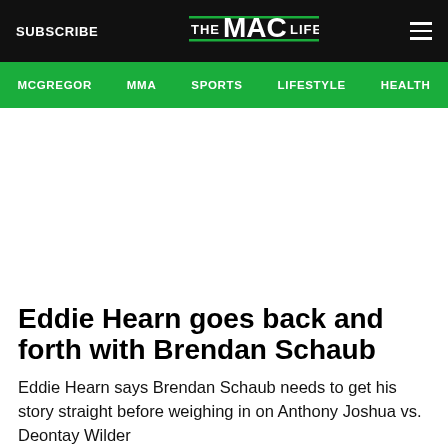SUBSCRIBE | THE MAC LIFE | (menu)
MCGREGOR  MMA  SPORTS  LIFESTYLE  HEALTH
Eddie Hearn goes back and forth with Brendan Schaub
Eddie Hearn says Brendan Schaub needs to get his story straight before weighing in on Anthony Joshua vs. Deontay Wilder